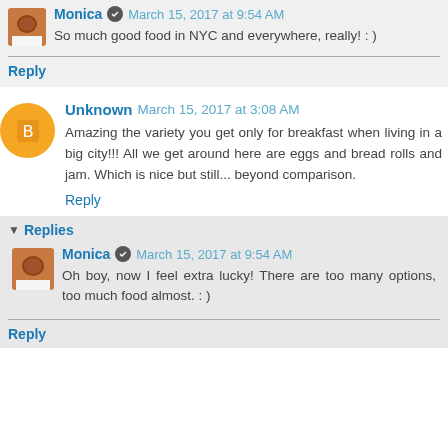Monica · March 15, 2017 at 9:54 AM
So much good food in NYC and everywhere, really! : )
Reply
Unknown March 15, 2017 at 3:08 AM
Amazing the variety you get only for breakfast when living in a big city!!! All we get around here are eggs and bread rolls and jam. Which is nice but still... beyond comparison.
Reply
Replies
Monica · March 15, 2017 at 9:54 AM
Oh boy, now I feel extra lucky! There are too many options, too much food almost. : )
Reply